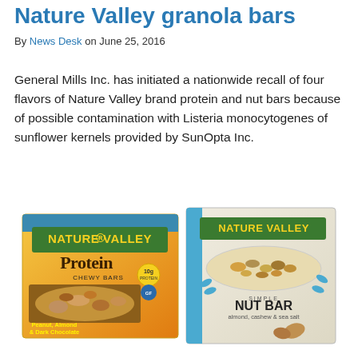Nature Valley granola bars
By News Desk on June 25, 2016
General Mills Inc. has initiated a nationwide recall of four flavors of Nature Valley brand protein and nut bars because of possible contamination with Listeria monocytogenes of sunflower kernels provided by SunOpta Inc.
[Figure (photo): Two boxes of Nature Valley products: one is Nature Valley Protein Chewy Bars (Peanut, Almond & Dark Chocolate) and the other is Nature Valley Simple Nut Bar (almond, cashew & sea salt).]